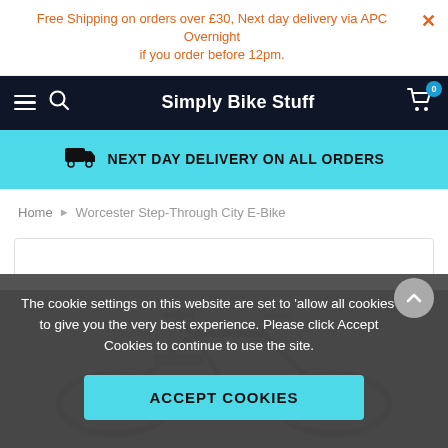Free Shipping on orders over £30, Next day delivery via APC Overnight if you order before 12pm.
Simply Bike Stuff
NEXT DAY DELIVERY ON ALL ORDERS
Home › Worcester Step-Through City E-Bike
The cookie settings on this website are set to 'allow all cookies' to give you the very best experience. Please click Accept Cookies to continue to use the site.
ACCEPT COOKIES